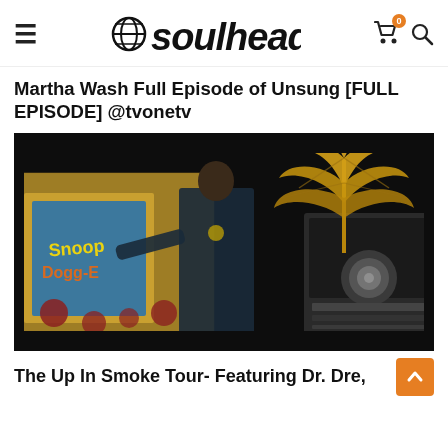soulhead
Martha Wash Full Episode of Unsung [FULL EPISODE] @tvonetv
[Figure (photo): Video thumbnail showing a performer on stage with a large golden cannabis leaf backdrop and graffiti-style set decorations in a dark environment]
The Up In Smoke Tour- Featuring Dr. Dre,